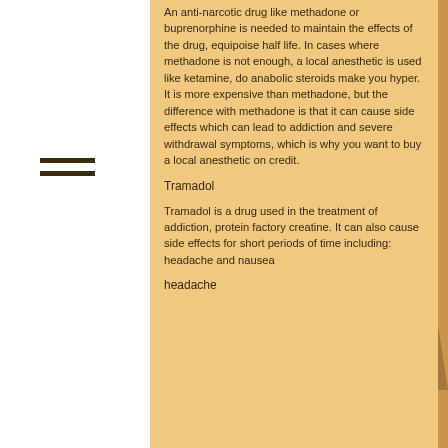An anti-narcotic drug like methadone or buprenorphine is needed to maintain the effects of the drug, equipoise half life. In cases where methadone is not enough, a local anesthetic is used like ketamine, do anabolic steroids make you hyper. It is more expensive than methadone, but the difference with methadone is that it can cause side effects which can lead to addiction and severe withdrawal symptoms, which is why you want to buy a local anesthetic on credit.
Tramadol
Tramadol is a drug used in the treatment of addiction, protein factory creatine. It can also cause side effects for short periods of time including: headache and nausea
headache